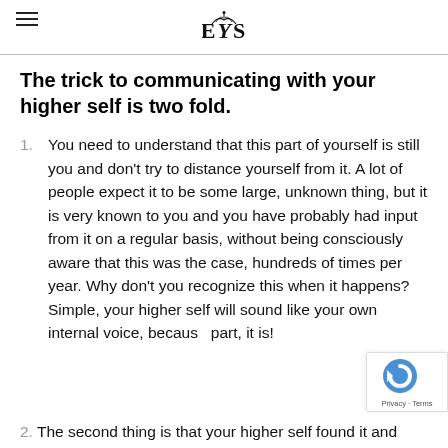EYS (logo)
The trick to communicating with your higher self is two fold.
You need to understand that this part of yourself is still you and don't try to distance yourself from it. A lot of people expect it to be some large, unknown thing, but it is very known to you and you have probably had input from it on a regular basis, without being consciously aware that this was the case, hundreds of times per year. Why don't you recognize this when it happens? Simple, your higher self will sound like your own internal voice, because part, it is!